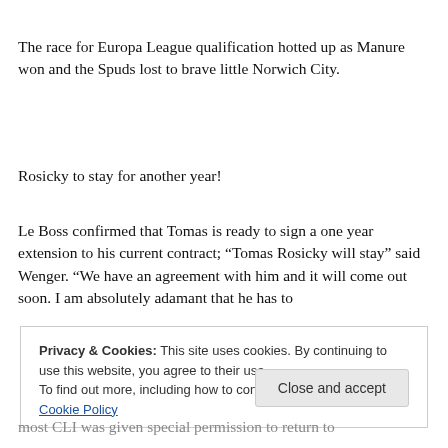The race for Europa League qualification hotted up as Manure won and the Spuds lost to brave little Norwich City.
Rosicky to stay for another year!
Le Boss confirmed that Tomas is ready to sign a one year extension to his current contract; “Tomas Rosicky will stay” said Wenger. “We have an agreement with him and it will come out soon. I am absolutely adamant that he has to
Privacy & Cookies: This site uses cookies. By continuing to use this website, you agree to their use. To find out more, including how to control cookies, see here: Cookie Policy
Close and accept
most CLI was given special permission to return to